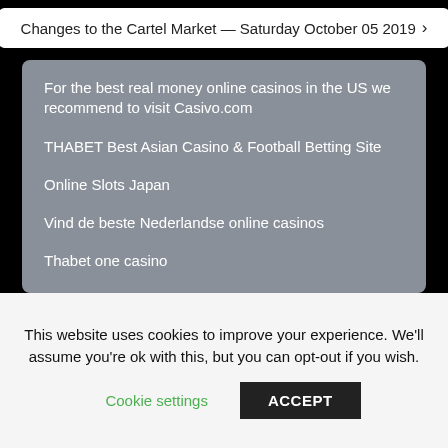Changes to the Cartel Market — Saturday October 05 2019 ›
For the best real money online casinos in the US we recommend to visit Casivo.com
THABET Best Asian Casino & Football Betting Site
Online Slots Japan
Vind de beste Nederlandse online casinos
Thabet one casino
The best online casino bonuses offer extras like free slots spins and other giveaways on top of the cash amount
Best online casino no minimum deposit UK not on gamstop.
Looking to find a reliable bitcoin casino? Coincasinos
This website uses cookies to improve your experience. We'll assume you're ok with this, but you can opt-out if you wish.
Cookie settings   ACCEPT